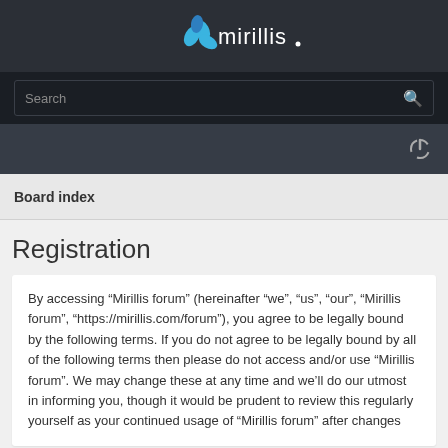mirillis
Search
Board index
Registration
By accessing “Mirillis forum” (hereinafter “we”, “us”, “our”, “Mirillis forum”, “https://mirillis.com/forum”), you agree to be legally bound by the following terms. If you do not agree to be legally bound by all of the following terms then please do not access and/or use “Mirillis forum”. We may change these at any time and we’ll do our utmost in informing you, though it would be prudent to review this regularly yourself as your continued usage of “Mirillis forum” after changes